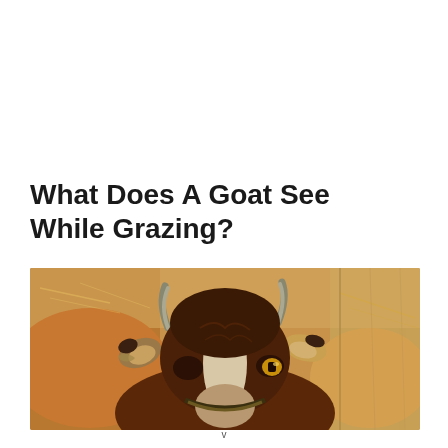What Does A Goat See While Grazing?
[Figure (photo): Close-up top-down photo of a brown and white goat's head with small horns, visible golden eye, and a collar, surrounded by other goats/hay in a farm setting.]